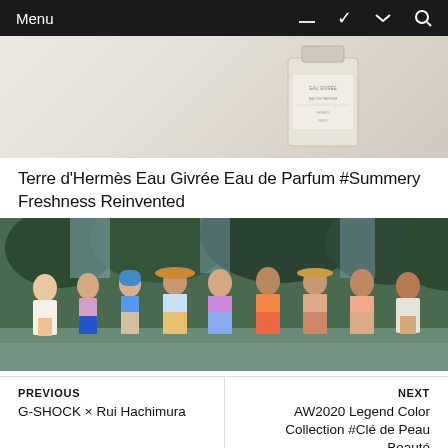Menu
[Figure (photo): Terre d'Hermès Eau Givrée Eau de Parfum perfume bottle on light beige/cream background]
Terre d'Hermès Eau Givrée Eau de Parfum #Summery Freshness Reinvented
[Figure (photo): Group of women in colorful bikinis and swimwear posing on a beach with trees in the background - H&M Summer 2022 collection]
H&M Summer 2022 collection, A playful mix of florals
PREVIOUS
G-SHOCK × Rui Hachimura
NEXT
AW2020 Legend Color Collection #Clé de Peau Beauté